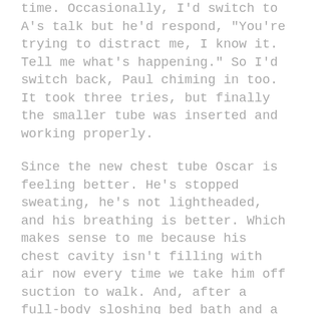time. Occasionally, I'd switch to A's talk but he'd respond, "You're trying to distract me, I know it. Tell me what's happening." So I'd switch back, Paul chiming in too. It took three tries, but finally the smaller tube was inserted and working properly.
Since the new chest tube Oscar is feeling better. He's stopped sweating, he's not lightheaded, and his breathing is better. Which makes sense to me because his chest cavity isn't filling with air now every time we take him off suction to walk. And, after a full-body sloshing bed bath and a set of real pajamas from home, his spirits are better too.
We're in a slight holding pattern now, taking intermittent chest x-rays to make sure the pneumothorax* isn't increasing. His chest tube has